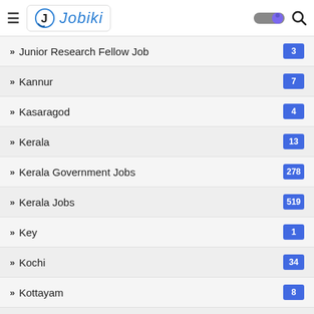Jobiki
Junior Research Fellow Job 3
Kannur 7
Kasaragod 4
Kerala 13
Kerala Government Jobs 278
Kerala Jobs 519
Key 1
Kochi 34
Kottayam 8
Kozhikode 12
Kpsc 9
Kuwait 158